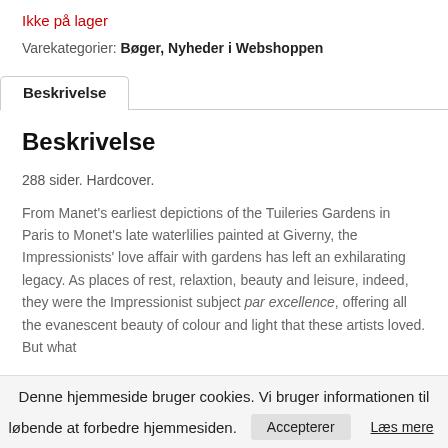Ikke på lager
Varekategorier: Bøger, Nyheder i Webshoppen
Beskrivelse
Beskrivelse
288 sider. Hardcover.
From Manet's earliest depictions of the Tuileries Gardens in Paris to Monet's late waterlilies painted at Giverny, the Impressionists' love affair with gardens has left an exhilarating legacy. As places of rest, relaxtion, beauty and leisure, indeed, they were the Impressionist subject par excellence, offering all the evanescent beauty of colour and light that these artists loved. But what
Denne hjemmeside bruger cookies. Vi bruger informationen til løbende at forbedre hjemmesiden. Accepterer Læs mere